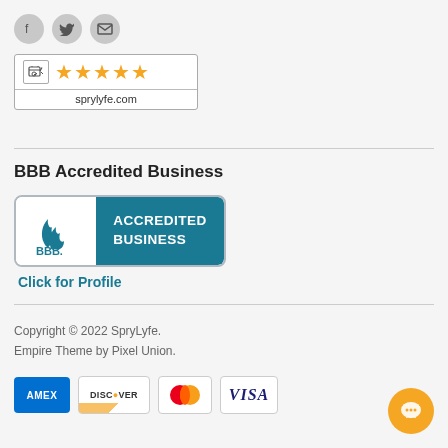[Figure (logo): Social media icons: Facebook, Twitter, Email (circular grey buttons)]
[Figure (logo): Shopper Approved rating badge with shopping cart icon, 4 orange stars, and text 'sprylyfe.com']
BBB Accredited Business
[Figure (logo): BBB Accredited Business badge with teal background and BBB flame logo]
Click for Profile
Copyright © 2022 SpryLyfe.
Empire Theme by Pixel Union.
[Figure (logo): Payment icons: AMEX, DISCOVER, Mastercard, VISA]
[Figure (logo): Orange chat/support button in bottom right corner]